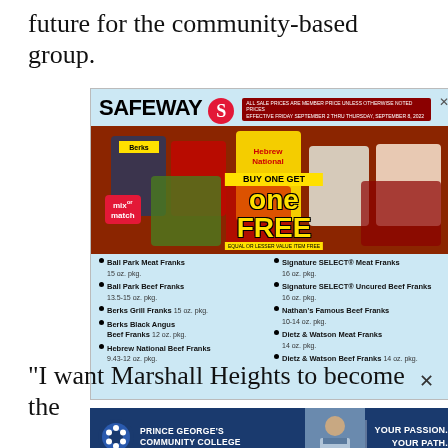future for the community-based group.
[Figure (other): Safeway advertisement: Buy One Get One Free on various beef frank brands including Ball Park, Berks, Signature SELECT, Nathan's Famous, Hebrew National, and Dietz & Watson. Mix or Match offer. Valid September 2 through September 8, 2022.]
“I want Marshall Heights to become the
[Figure (other): Prince George's Community College advertisement: YOUR PASSION. YOUR PATH. Shows a student in scrubs.]